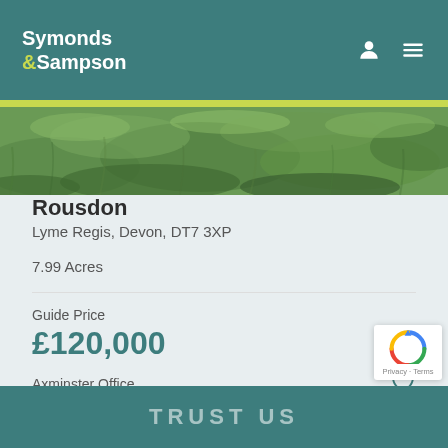Symonds & Sampson
[Figure (photo): Aerial or close-up photo of green grass field]
Rousdon
Lyme Regis, Devon, DT7 3XP
7.99 Acres
Guide Price
£120,000
Axminster Office
TRUST US